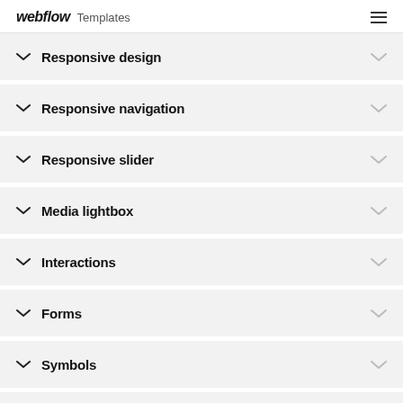webflow Templates
Responsive design
Responsive navigation
Responsive slider
Media lightbox
Interactions
Forms
Symbols